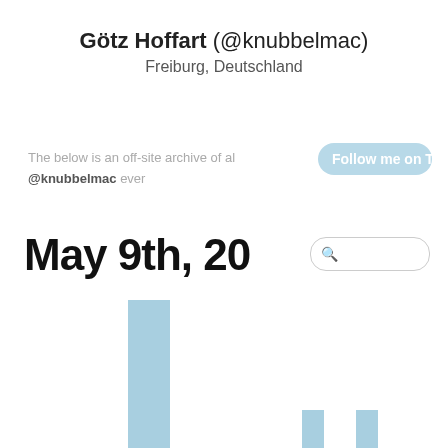Götz Hoffart (@knubbelmac)
Freiburg, Deutschland
The below is an off-site archive of all tweets posted by @knubbelmac ever
[Figure (other): Follow me on Twitter button]
May 9th, 20
[Figure (bar-chart): Partial bar chart showing tweet activity. Three visible bars of varying heights in light blue color.]